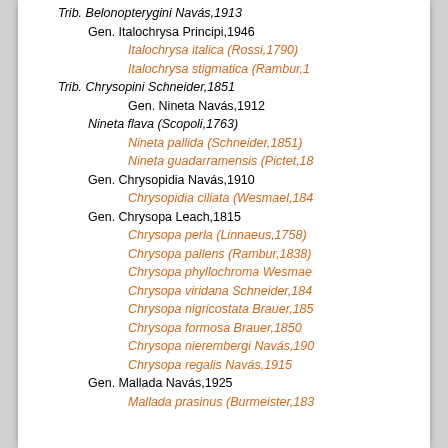Trib. Belonopterygini Navás,1913
Gen. Italochrysa Principi,1946
Italochrysa italica (Rossi,1790)
Italochrysa stigmatica (Rambur,1…
Trib. Chrysopini Schneider,1851
Gen. Nineta Navás,1912
Nineta flava (Scopoli,1763)
Nineta pallida (Schneider,1851)
Nineta guadarramensis (Pictet,18…
Gen. Chrysopidia Navás,1910
Chrysopidia ciliata (Wesmael,184…
Gen. Chrysopa Leach,1815
Chrysopa perla (Linnaeus,1758)
Chrysopa pallens (Rambur,1838)
Chrysopa phyllochroma Wesmae…
Chrysopa viridana Schneider,184…
Chrysopa nigricostata Brauer,185…
Chrysopa formosa Brauer,1850
Chrysopa nierembergi Navás,190…
Chrysopa regalis Navás,1915
Gen. Mallada Navás,1925
Mallada prasinus (Burmeister,183…